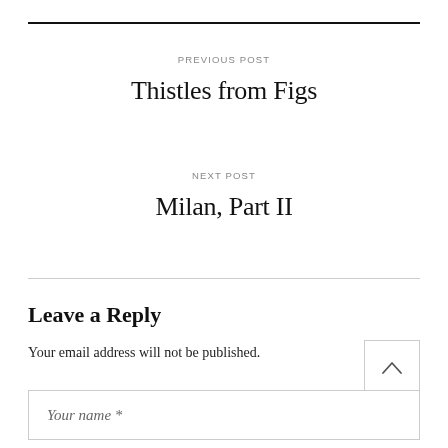PREVIOUS POST
Thistles from Figs
NEXT POST
Milan, Part II
Leave a Reply
Your email address will not be published.
Your name *